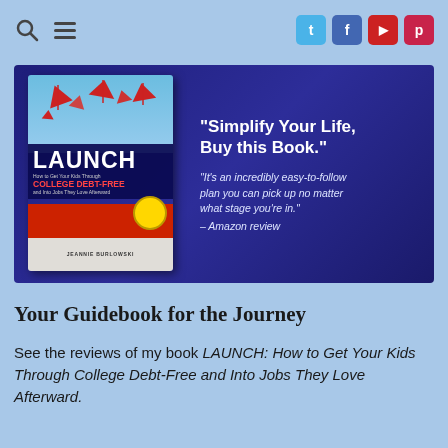[Figure (screenshot): Website navigation bar with search icon, hamburger menu, and social media buttons (Twitter, Facebook, YouTube, Pinterest) on a light blue background]
[Figure (photo): Book banner showing the cover of LAUNCH: How to Get Your Kids Through College Debt-Free and Into Jobs They Love Afterward by Jeannie Burlowski, on a dark blue/purple background, with quote: 'Simplify Your Life, Buy this Book.' and Amazon review excerpt.]
Your Guidebook for the Journey
See the reviews of my book LAUNCH: How to Get Your Kids Through College Debt-Free and Into Jobs They Love Afterward.